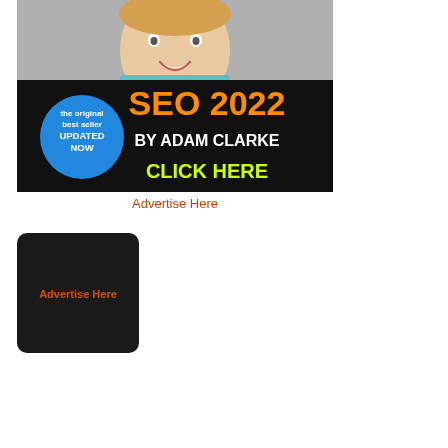[Figure (illustration): Advertisement banner for SEO 2022 book by Adam Clarke. Top portion shows a smiling woman against grey background. Bottom black section has orange text 'SEO 2022', white text 'BY ADAM CLARKE', green text 'CLICK HERE', and a blue circle badge saying 'the original best seller UPDATED NOW'.]
Advertise Here
[Figure (illustration): Black rounded rectangle advertisement placeholder box with orange text 'Advertise Here' centered in it.]